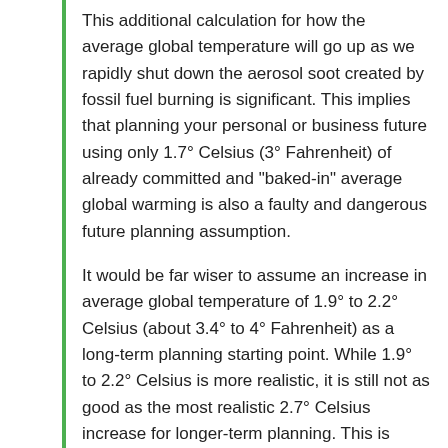This additional calculation for how the average global temperature will go up as we rapidly shut down the aerosol soot created by fossil fuel burning is significant. This implies that planning your personal or business future using only 1.7° Celsius (3° Fahrenheit) of already committed and "baked-in" average global warming is also a faulty and dangerous future planning assumption.
It would be far wiser to assume an increase in average global temperature of 1.9° to 2.2° Celsius (about 3.4° to 4° Fahrenheit) as a long-term planning starting point. While 1.9° to 2.2° Celsius is more realistic, it is still not as good as the most realistic 2.7° Celsius increase for longer-term planning. This is